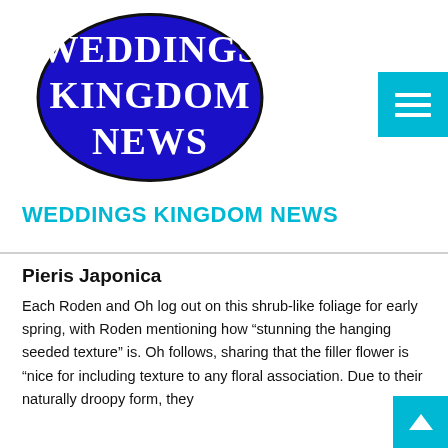[Figure (logo): Weddings Kingdom News logo: dark blue oval with white serif text reading WEDDINGS KINGDOM NEWS]
[Figure (other): Teal/cyan square hamburger menu button with three white horizontal bars]
WEDDINGS KINGDOM NEWS
Pieris Japonica
Each Roden and Oh log out on this shrub-like foliage for early spring, with Roden mentioning how “stunning the hanging seeded texture” is. Oh follows, sharing that the filler flower is “nice for including texture to any floral association. Due to their naturally droopy form, they